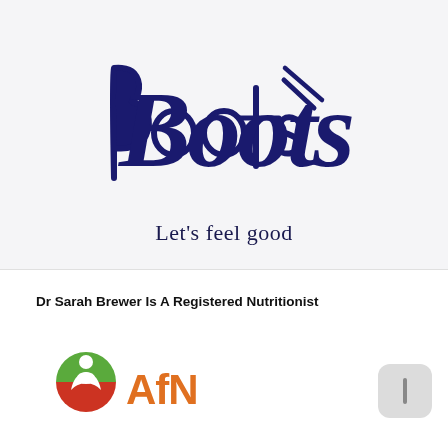[Figure (logo): Boots pharmacy brand logo in dark navy blue cursive script reading 'Boots' with the tagline 'Let's feel good' below in serif font]
Dr Sarah Brewer Is A Registered Nutritionist
[Figure (logo): AfN (Association for Nutrition) logo with a circular green and red figure icon on the left and orange 'AfN' lettering on the right]